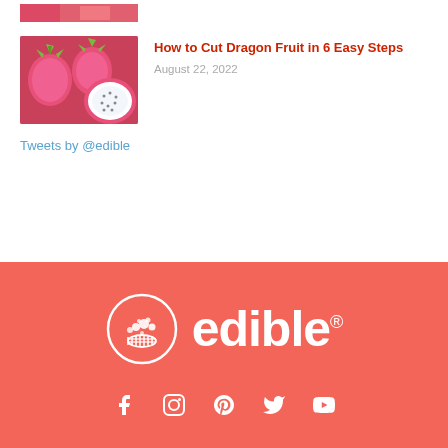[Figure (photo): Partial top image strip showing red/pink fruit]
[Figure (photo): Dragon fruit image showing pink dragon fruits with one cut open revealing white flesh]
How to Cut Dragon Fruit in 6 Easy Steps
August 22, 2022
Tweets by @edible
[Figure (logo): Edible Arrangements logo — white circle with fruit basket icon and 'edible' wordmark in white on coral/salmon background]
[Figure (infographic): Social media icons: Facebook, Instagram, Pinterest, Twitter, YouTube in white on coral background]